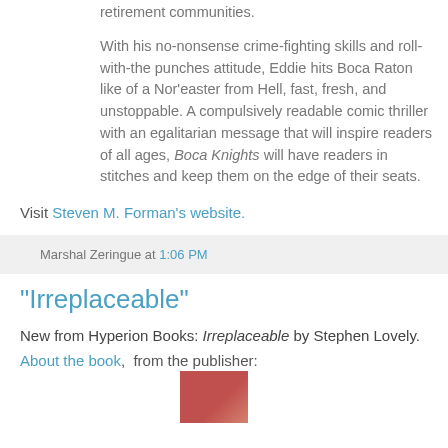retirement communities.
With his no-nonsense crime-fighting skills and roll-with-the punches attitude, Eddie hits Boca Raton like of a Nor'easter from Hell, fast, fresh, and unstoppable. A compulsively readable comic thriller with an egalitarian message that will inspire readers of all ages, Boca Knights will have readers in stitches and keep them on the edge of their seats.
Visit Steven M. Forman's website.
Marshal Zeringue at 1:06 PM
"Irreplaceable"
New from Hyperion Books: Irreplaceable by Stephen Lovely.
About the book, from the publisher:
[Figure (photo): Partial book cover image, reddish/pink tones, bottom right of page]